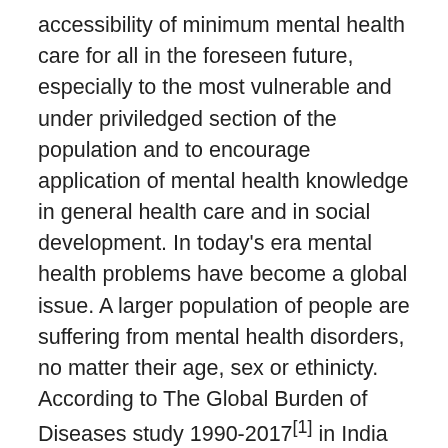accessibility of minimum mental health care for all in the foreseen future, especially to the most vulnerable and under priviledged section of the population and to encourage application of mental health knowledge in general health care and in social development. In today's era mental health problems have become a global issue. A larger population of people are suffering from mental health disorders, no matter their age, sex or ethinicty. According to The Global Burden of Diseases study 1990-2017[1] in India around 197.3 million people have mental disorder which comprises 14.3% of the total population of the country out of which 44.9 million people had anxiety disorders in India. Among the major mental disorders that exhibit predominantly during childhood, the